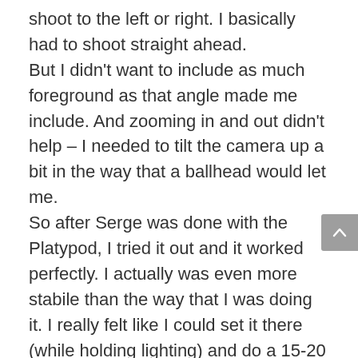shoot to the left or right. I basically had to shoot straight ahead. But I didn't want to include as much foreground as that angle made me include. And zooming in and out didn't help – I needed to tilt the camera up a bit in the way that a ballhead would let me. So after Serge was done with the Platypod, I tried it out and it worked perfectly. I actually was even more stabile than the way that I was doing it. I really felt like I could set it there (while holding lighting) and do a 15-20 second exposure if I needed. And the best part was that it was on a ballhead that I could move, tilt, and position any way that I